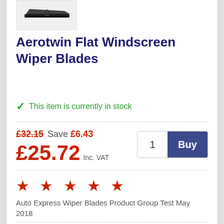[Figure (photo): Product image of a flat windscreen wiper blade against a white background]
Aerotwin Flat Windscreen Wiper Blades
This item is currently in stock
£32.15 Save £6.43
£25.72 Inc. VAT
★ ★ ★ ★ ★
Auto Express Wiper Blades Product Group Test May 2018